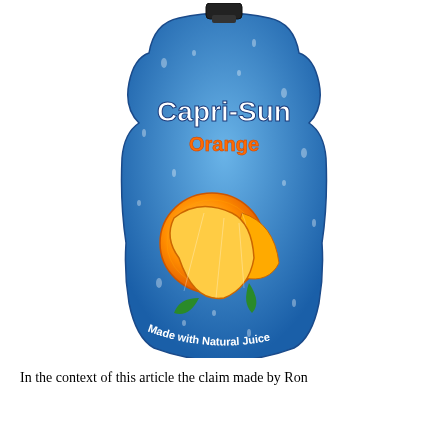[Figure (photo): A Capri-Sun Orange juice pouch drink package. The pouch is blue with water droplets, features the 'Capri-Sun' brand name in white text, 'Orange' in orange text, an image of orange slices in the middle, and 'Made with Natural Juice' text curved along the bottom. A black cap is at the top.]
In the context of this article the claim made by Ron